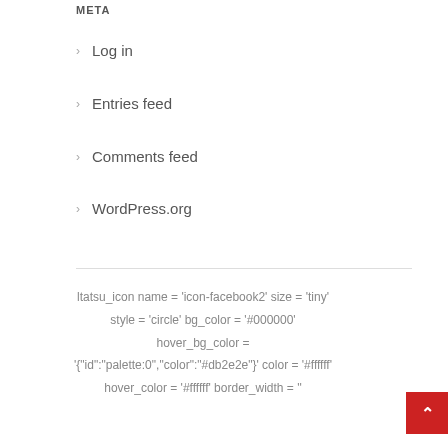META
Log in
Entries feed
Comments feed
WordPress.org
ltatsu_icon name = 'icon-facebook2' size = 'tiny' style = 'circle' bg_color = '#000000' hover_bg_color = '{"id":"palette:0","color":"#db2e2e"}' color = '#ffffff' hover_color = '#ffffff' border_width = ''